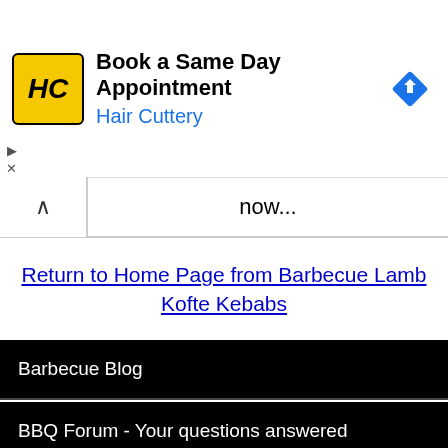[Figure (other): Hair Cuttery advertisement banner with logo, text 'Book a Same Day Appointment / Hair Cuttery', and a blue diamond navigation arrow icon]
now...
Return to Home Page from Barbecue Lamb Kofte Kebabs
Barbecue Blog
BBQ Forum - Your questions answered
DELICIOUS RECIPES